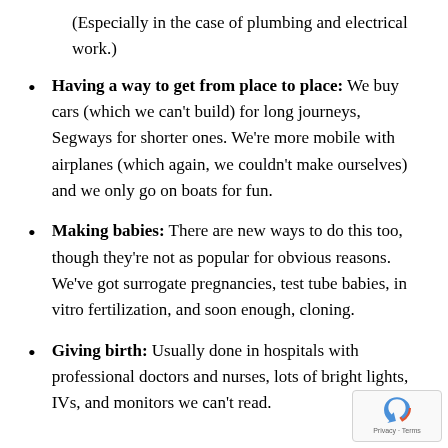(Especially in the case of plumbing and electrical work.)
Having a way to get from place to place: We buy cars (which we can't build) for long journeys, Segways for shorter ones. We're more mobile with airplanes (which again, we couldn't make ourselves) and we only go on boats for fun.
Making babies: There are new ways to do this too, though they're not as popular for obvious reasons. We've got surrogate pregnancies, test tube babies, in vitro fertilization, and soon enough, cloning.
Giving birth: Usually done in hospitals with professional doctors and nurses, lots of bright lights, IVs, and monitors we can't read.